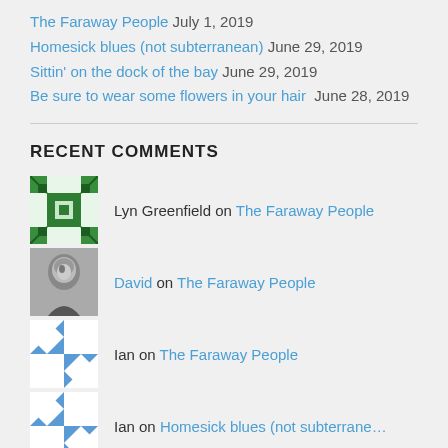The Faraway People July 1, 2019
Homesick blues (not subterranean) June 29, 2019
Sittin' on the dock of the bay June 29, 2019
Be sure to wear some flowers in your hair  June 28, 2019
RECENT COMMENTS
Lyn Greenfield on The Faraway People
David on The Faraway People
Ian on The Faraway People
Ian on Homesick blues (not subterrane…
Ian on Sittin' on the dock of the bay